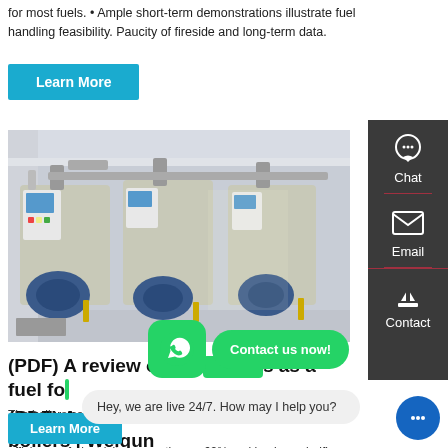for most fuels. • Ample short-term demonstrations illustrate fuel handling feasibility. Paucity of fireside and long-term data.
Learn More
[Figure (photo): Industrial boilers in a facility room — three large cylindrical steam boilers with blue motors, control panels, and pipe connections in a white-walled room.]
(PDF) A review on biomass as a fuel for boilers | Weiqun
The boilers can fire coals with ash content as high turbine to improve the efficiency of electricity generation as 62% and having calorific value as low as 2500 kcal/kg. Even a relatively low calorific fuel having carbon content of only ... combustion. 2.9.
[Figure (infographic): Right sidebar with chat, email, and contact icons on dark background.]
[Figure (infographic): WhatsApp icon with 'Contact us now!' green bubble overlay.]
Hey, we are live 24/7. How may I help you?